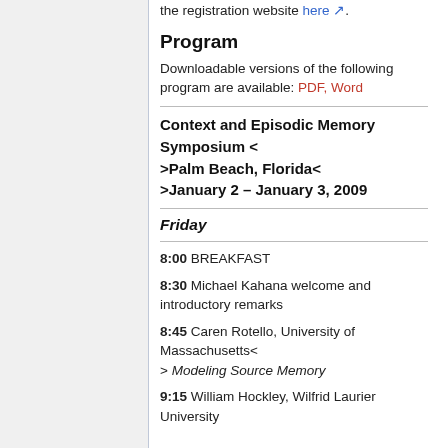the registration website here.
Program
Downloadable versions of the following program are available: PDF, Word
Context and Episodic Memory Symposium < >Palm Beach, Florida< >January 2 – January 3, 2009
Friday
8:00 BREAKFAST
8:30 Michael Kahana welcome and introductory remarks
8:45 Caren Rotello, University of Massachusetts< > Modeling Source Memory
9:15 William Hockley, Wilfrid Laurier University